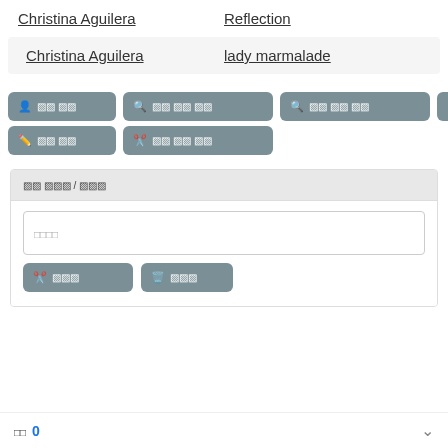Christina Aguilera   Reflection
Christina Aguilera   lady marmalade
[Figure (screenshot): UI buttons with icons and garbled text labels arranged in groups]
[garbled] / [garbled]
[garbled text input placeholder]
[garbled] [garbled] (action buttons)
0